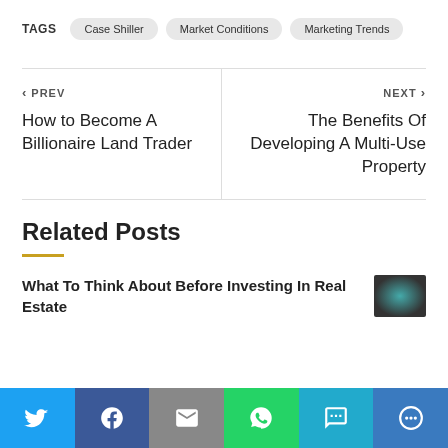TAGS  Case Shiller  Market Conditions  Marketing Trends
< PREV
How to Become A Billionaire Land Trader
NEXT >
The Benefits Of Developing A Multi-Use Property
Related Posts
What To Think About Before Investing In Real Estate